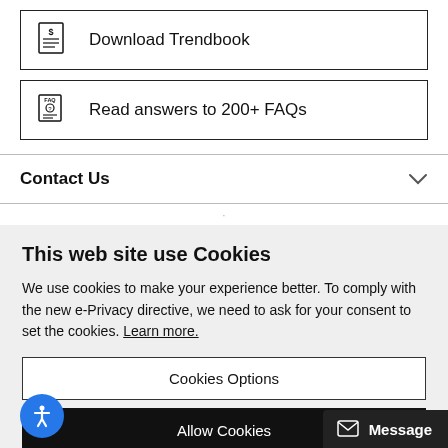Download Trendbook
Read answers to 200+ FAQs
Contact Us
This web site use Cookies
We use cookies to make your experience better. To comply with the new e-Privacy directive, we need to ask for your consent to set the cookies. Learn more.
Cookies Options
Allow Cookies